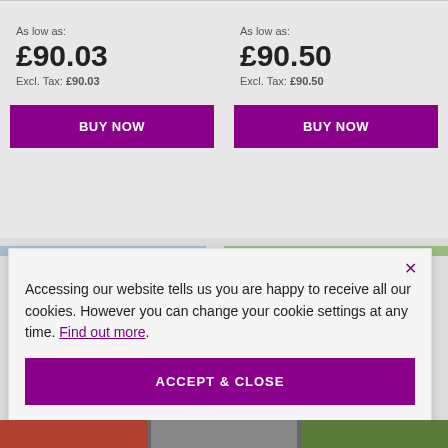As low as:
£90.03
Excl. Tax: £90.03
BUY NOW
As low as:
£90.50
Excl. Tax: £90.50
BUY NOW
Accessing our website tells us you are happy to receive all our cookies. However you can change your cookie settings at any time. Find out more.
ACCEPT & CLOSE